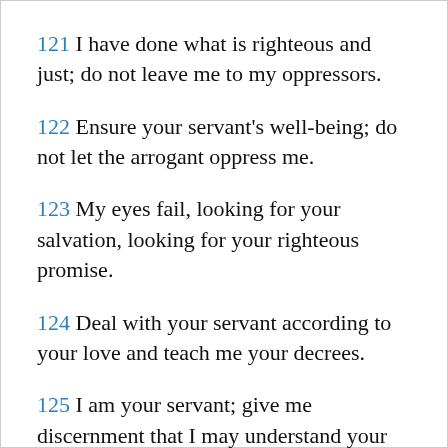121 I have done what is righteous and just; do not leave me to my oppressors.
122 Ensure your servant's well-being; do not let the arrogant oppress me.
123 My eyes fail, looking for your salvation, looking for your righteous promise.
124 Deal with your servant according to your love and teach me your decrees.
125 I am your servant; give me discernment that I may understand your statutes.